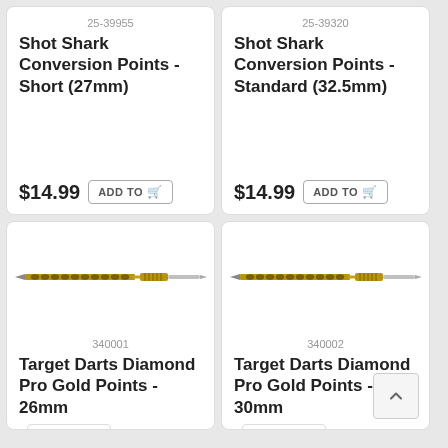25-39955
Shot Shark Conversion Points - Short (27mm)
$14.99  ADD TO CART
25-39320
Shot Shark Conversion Points - Standard (32.5mm)
$14.99  ADD TO CART
[Figure (photo): Gold dart conversion point - long dart barrel with diamond pattern, gold finish, approximately 26mm]
340001
Target Darts Diamond Pro Gold Points - 26mm
[Figure (photo): Gold dart conversion point - long dart barrel with diamond pattern, gold finish, approximately 30mm]
340002
Target Darts Diamond Pro Gold Points - 30mm